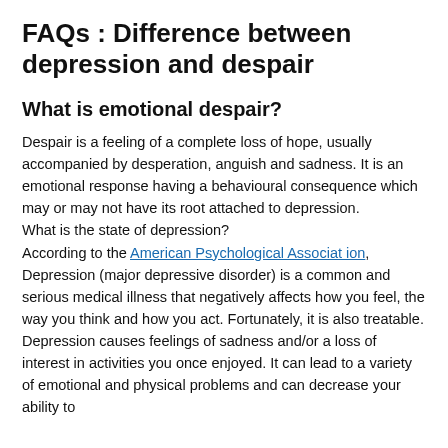FAQs : Difference between depression and despair
What is emotional despair?
Despair is a feeling of a complete loss of hope, usually accompanied by desperation, anguish and sadness. It is an emotional response having a behavioural consequence which may or may not have its root attached to depression.
What is the state of depression?
According to the American Psychological Association, Depression (major depressive disorder) is a common and serious medical illness that negatively affects how you feel, the way you think and how you act. Fortunately, it is also treatable. Depression causes feelings of sadness and/or a loss of interest in activities you once enjoyed. It can lead to a variety of emotional and physical problems and can decrease your ability to